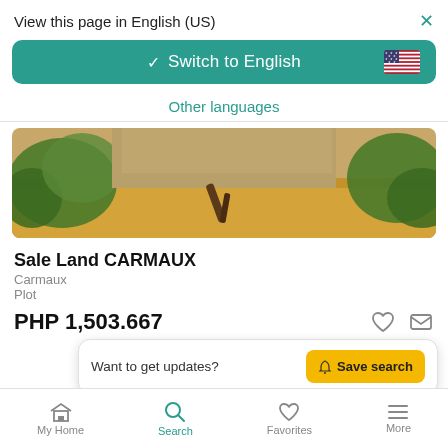View this page in English (US)
Switch to English
Other languages
[Figure (photo): Outdoor land plot with dry grass, trees and branches visible]
Sale Land CARMAUX
Carmaux
Plot
PHP 1,503.667
Want to get updates?  Save search
David LECADET
My Home  Search  Favorites  More